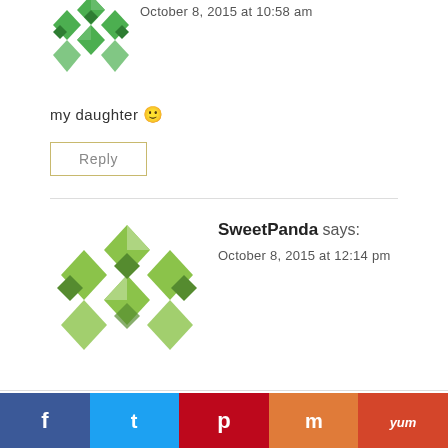October 8, 2015 at 10:58 am
my daughter 🙂
Reply
SweetPanda says:
October 8, 2015 at 12:14 pm
I'd encourage my son
Reply
[Figure (infographic): Social share bar with Facebook, Twitter, Pinterest, Mix, and Yummly icons]
f  t  p  m  yum